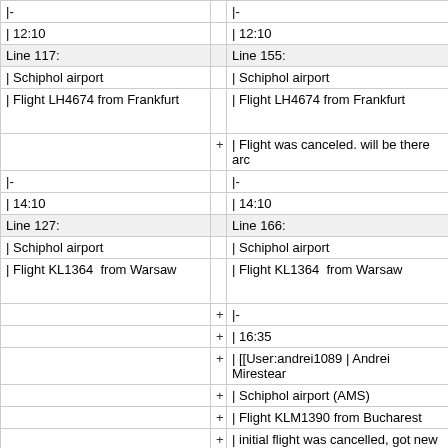| Left | + | Right |
| --- | --- | --- |
| |- |  | |- |
| | 12:10 |  | | 12:10 |
| Line 117: |  | Line 155: |
| | Schiphol airport |  | | Schiphol airport |
| | Flight LH4674 from Frankfurt |  | | Flight LH4674 from Frankfurt |
|  | + | | Flight was canceled. will be there arc |
| |- |  | |- |
| | 14:10 |  | | 14:10 |
| Line 127: |  | Line 166: |
| | Schiphol airport |  | | Schiphol airport |
| | Flight KL1364  from Warsaw |  | | Flight KL1364  from Warsaw |
|  | + | |- |
|  | + | | 16:35 |
|  | + | | [[User:andrei1089 | Andrei Mirestear |
|  | + | | Schiphol airport (AMS) |
|  | + | | Flight KLM1390 from Bucharest |
|  | + | | initial flight was cancelled, got new ti |
|  | + | |- |